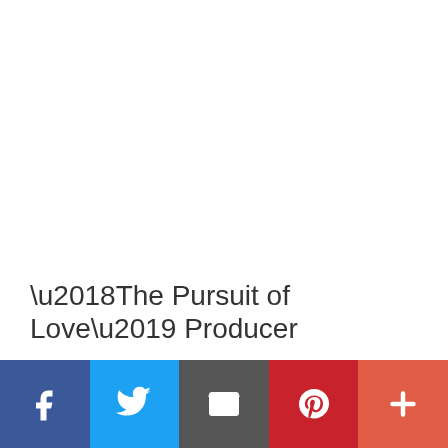‘The Pursuit of Love’ Producer
[Figure (infographic): Social sharing bar with five buttons: Facebook (dark blue), Twitter (light blue), Email (dark grey), Pinterest (red), More/plus (orange-red)]